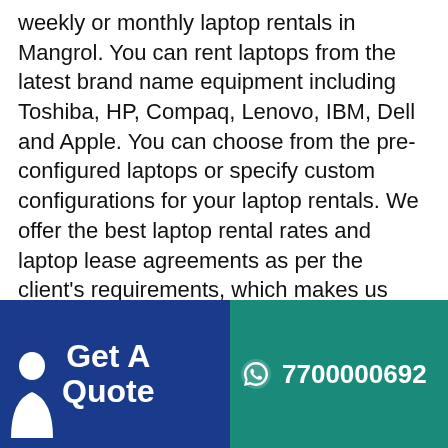weekly or monthly laptop rentals in Mangrol. You can rent laptops from the latest brand name equipment including Toshiba, HP, Compaq, Lenovo, IBM, Dell and Apple. You can choose from the pre-configured laptops or specify custom configurations for your laptop rentals. We offer the best laptop rental rates and laptop lease agreements as per the client's requirements, which makes us distinctive from the other laptop rental dealers in Mangrol. Are you looking for hundreds of laptops for rent in Mangrol that are all the same manufacturer model number? You need to rent a laptop for your employee, for training or other project? Want Rent Zone offers the option of a best
[Figure (infographic): Footer banner split into two colored sections. Left section is dark blue with a person silhouette icon and bold white text 'Get A Quote'. Right section is teal/green with a WhatsApp icon and bold white phone number '7700000692'.]